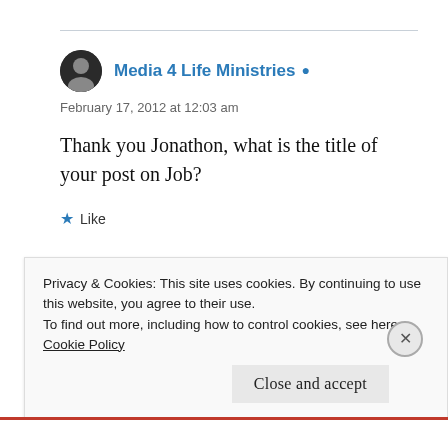Media 4 Life Ministries
February 17, 2012 at 12:03 am
Thank you Jonathon, what is the title of your post on Job?
★ Like
Privacy & Cookies: This site uses cookies. By continuing to use this website, you agree to their use.
To find out more, including how to control cookies, see here:
Cookie Policy
Close and accept